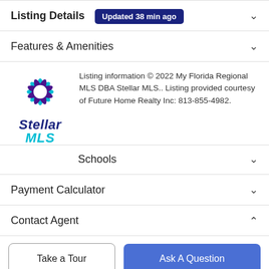Listing Details  Updated 38 min ago
Features & Amenities
Listing information © 2022 My Florida Regional MLS DBA Stellar MLS.. Listing provided courtesy of Future Home Realty Inc: 813-855-4982.
Schools
Payment Calculator
Contact Agent
Take a Tour
Ask A Question